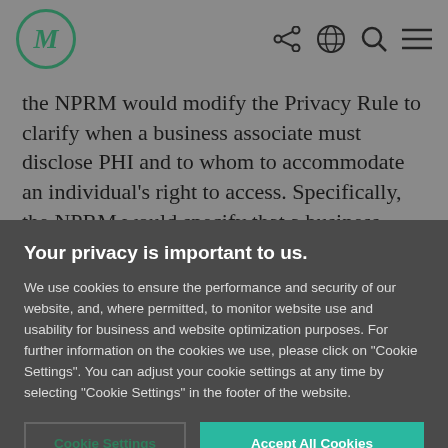M [logo] — share, globe, search, menu icons
the NPRM would modify the Privacy Rule to clarify when a business associate must disclose PHI and to whom to accommodate an individual's right to access. Specifically, the NPRM would specify that a business associate must disclose PHI to the
Your privacy is important to us.
We use cookies to ensure the performance and security of our website, and, where permitted, to monitor website use and usability for business and website optimization purposes. For further information on the cookies we use, please click on "Cookie Settings". You can adjust your cookie settings at any time by selecting "Cookie Settings" in the footer of the website.
Cookie Settings | Accept All Cookies